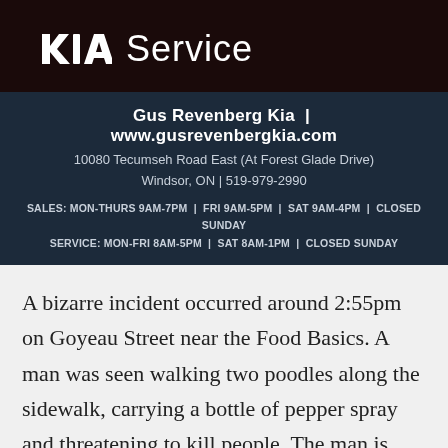[Figure (logo): Kia Service advertisement banner with dark background showing Kia logo and 'Service' text]
Gus Revenberg Kia | www.gusrevenbergkia.com
10080 Tecumseh Road East (At Forest Glade Drive)
Windsor, ON | 519-979-2990
SALES: MON-THURS 9AM-7PM | FRI 9AM-5PM | SAT 9AM-4PM | CLOSED SUNDAY
SERVICE: MON-FRI 8AM-5PM | SAT 8AM-1PM | CLOSED SUNDAY
A bizarre incident occurred around 2:55pm on Goyeau Street near the Food Basics. A man was seen walking two poodles along the sidewalk, carrying a bottle of pepper spray and threatening to kill people. The man is described as a white male, wearing a black shirt and black hat. It is unsure what provoked the man to make the death threats nor is it clear why he was carrying